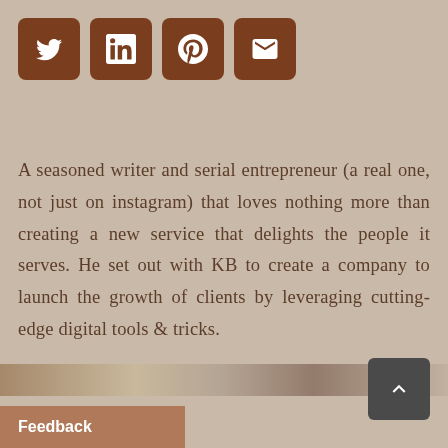[Figure (infographic): Four social media icon buttons: Twitter, LinkedIn, Pinterest, Email — brown rounded squares with white icons]
A seasoned writer and serial entrepreneur (a real one, not just on instagram) that loves nothing more than creating a new service that delights the people it serves. He set out with KB to create a company to launch the growth of clients by leveraging cutting-edge digital tools & tricks.
[Figure (other): Decorative metallic/wood grain horizontal bar near bottom of page]
[Figure (other): Scroll-to-top button, dark grey rounded square with upward chevron]
Feedback